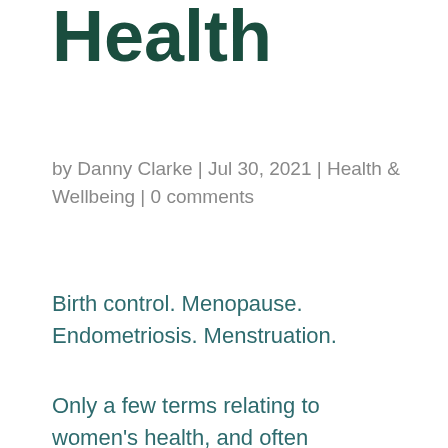Health
by Danny Clarke | Jul 30, 2021 | Health & Wellbeing | 0 comments
Birth control. Menopause. Endometriosis. Menstruation.
Only a few terms relating to women's health, and often